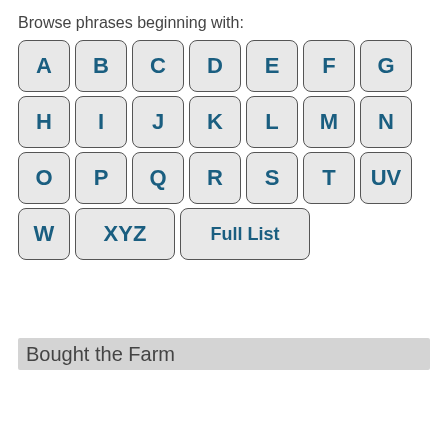Browse phrases beginning with:
[Figure (other): Keyboard-style letter navigation buttons arranged in rows: Row 1: A B C D E F G, Row 2: H I J K L M N, Row 3: O P Q R S T UV, Row 4: W XYZ Full List]
Bought the Farm